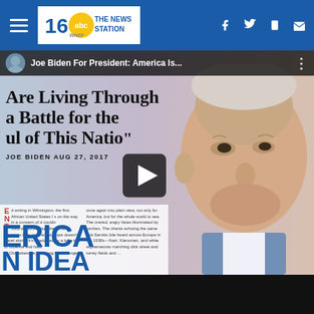WNEP 16 ABC The News Station
[Figure (screenshot): Video thumbnail showing Joe Biden campaign ad. Text overlay reads: 'Are Living Through a Battle for the Soul of This Nation' - JOE BIDEN AUG 27, 2017. Background shows close-up of Joe Biden's face on the right, and text from an article on the left. Large blue letters reading 'ERICA N IDEA' visible at bottom left. A play button is centered in the video frame. Video title bar at top reads 'Joe Biden For President: America Is...']